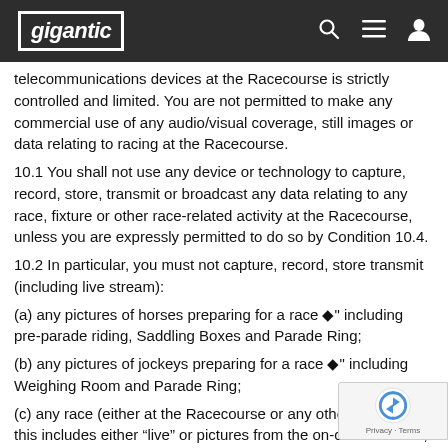gigantic
telecommunications devices at the Racecourse is strictly controlled and limited. You are not permitted to make any commercial use of any audio/visual coverage, still images or data relating to racing at the Racecourse.
10.1 You shall not use any device or technology to capture, record, store, transmit or broadcast any data relating to any race, fixture or other race-related activity at the Racecourse, unless you are expressly permitted to do so by Condition 10.4.
10.2 In particular, you must not capture, record, store transmit (including live stream):
(a) any pictures of horses preparing for a race ◆" including pre-parade riding, Saddling Boxes and Parade Ring;
(b) any pictures of jockeys preparing for a race ◆" including Weighing Room and Parade Ring;
(c) any race (either at the Racecourse or any other raced ◆" this includes either "live" or pictures from the on-course CCTV;